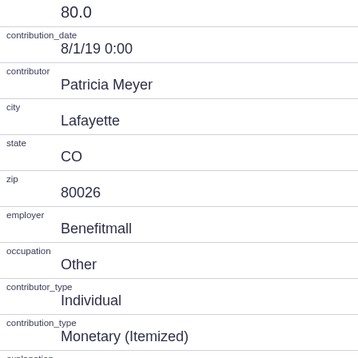| (partial top row) | 80.0 |
| contribution_date | 8/1/19 0:00 |
| contributor | Patricia  Meyer |
| city | Lafayette |
| state | CO |
| zip | 80026 |
| employer | Benefitmall |
| occupation | Other |
| contributor_type | Individual |
| contribution_type | Monetary (Itemized) |
| explanation |  |